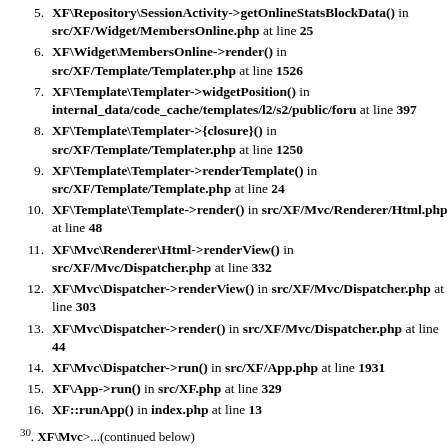5. XF\Repository\SessionActivity->getOnlineStatsBlockData() in src/XF/Widget/MembersOnline.php at line 25
6. XF\Widget\MembersOnline->render() in src/XF/Template/Templater.php at line 1526
7. XF\Template\Templater->widgetPosition() in internal_data/code_cache/templates/l2/s2/public/foru at line 397
8. XF\Template\Templater->{closure}() in src/XF/Template/Templater.php at line 1250
9. XF\Template\Templater->renderTemplate() in src/XF/Template/Template.php at line 24
10. XF\Template\Template->render() in src/XF/Mvc/Renderer/Html.php at line 48
11. XF\Mvc\Renderer\Html->renderView() in src/XF/Mvc/Dispatcher.php at line 332
12. XF\Mvc\Dispatcher->renderView() in src/XF/Mvc/Dispatcher.php at line 303
13. XF\Mvc\Dispatcher->render() in src/XF/Mvc/Dispatcher.php at line 44
14. XF\Mvc\Dispatcher->run() in src/XF/App.php at line 1931
15. XF\App->run() in src/XF.php at line 329
16. XF::runApp() in index.php at line 13
30. XF\Mvc\... (continued below)